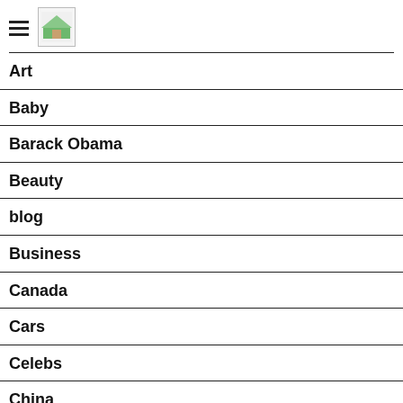Navigation menu with hamburger icon and logo
Art
Baby
Barack Obama
Beauty
blog
Business
Canada
Cars
Celebs
China
Computing